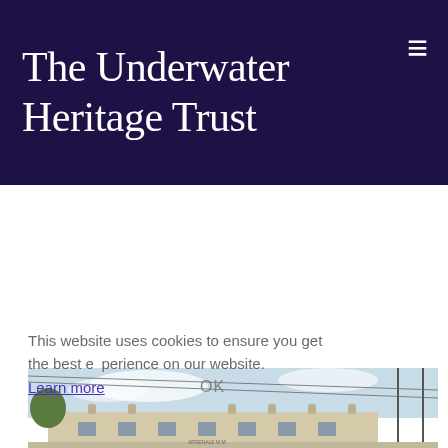The Underwater Heritage Trust
Posts by underwatertrust
Visit to famous Italian Naval Base
March 13, 2014
This website uses cookies to ensure you get the best experience on our website.
Learn more
[Figure (photo): Exterior view of Italian Naval Base building (Arsenale M.M.) with utility poles and sky in background. Cookie consent overlay with OK button visible over the image.]